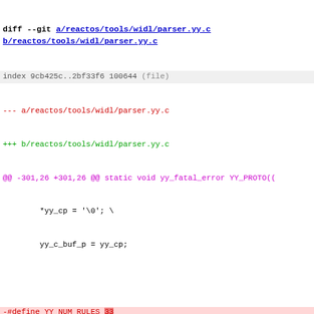diff --git a/reactos/tools/widl/parser.yy.c b/reactos/tools/widl/parser.yy.c
index 9cb425c..2bf33f6 100644 (file)
--- a/reactos/tools/widl/parser.yy.c
+++ b/reactos/tools/widl/parser.yy.c
@@ -301,26 +301,26 @@ static void yy_fatal_error YY_PROTO((
*yy_cp = '\0'; \
        yy_c_buf_p = yy_cp;
-#define YY_NUM_RULES 33
-#define YY_END_OF_BUFFER 34
-static yyconst short int yy_accept[142] =
+#define YY_NUM_RULES 36
+#define YY_END_OF_BUFFER 37
+static yyconst short int yy_accept[148] =
diff data lines showing removed and added array values